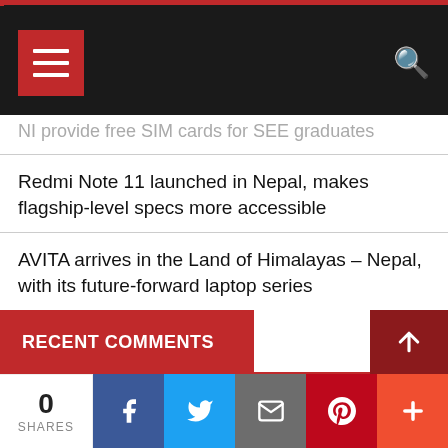Navigation header with menu and search
NI provide free SIM cards for SEE graduates
Redmi Note 11 launched in Nepal, makes flagship-level specs more accessible
AVITA arrives in the Land of Himalayas – Nepal, with its future-forward laptop series
Vote for “Best National Costume”
Ronali Amatya crowned Miss Grand Nepal 2021
RECENT COMMENTS
0 SHARES — Facebook, Twitter, Email, Pinterest, More